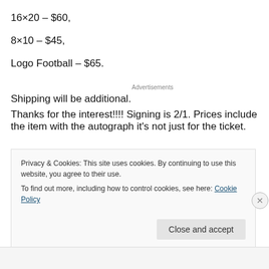16×20 – $60,
8×10 – $45,
Logo Football – $65.
Advertisements
Shipping will be additional.
Thanks for the interest!!!! Signing is 2/1. Prices include the item with the autograph it's not just for the ticket.
Privacy & Cookies: This site uses cookies. By continuing to use this website, you agree to their use.
To find out more, including how to control cookies, see here: Cookie Policy